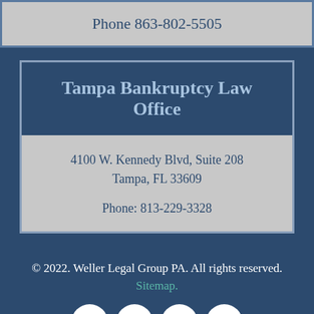Phone 863-802-5505
Tampa Bankruptcy Law Office
4100 W. Kennedy Blvd, Suite 208
Tampa, FL 33609

Phone: 813-229-3328
© 2022. Weller Legal Group PA. All rights reserved. Sitemap.